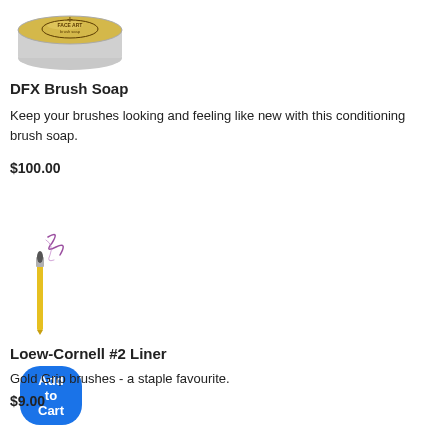[Figure (photo): DFX brush soap tin with gold/silver lid and logo on top]
DFX Brush Soap
Keep your brushes looking and feeling like new with this conditioning brush soap.
$100.00
Add to Cart
[Figure (photo): Loew-Cornell liner brush with yellow handle and purple painted swirl strokes]
Loew-Cornell #2 Liner
Gold Grip brushes - a staple favourite.
$9.00
Add to Cart